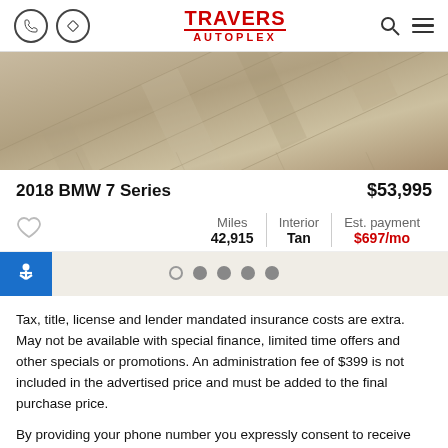TRAVERS AUTOPLEX
[Figure (photo): Close-up photo of wood-look tile flooring in gray/tan tones arranged at an angle]
2018 BMW 7 Series
$53,995
Miles 42,915 | Interior Tan | Est. payment $697/mo
Tax, title, license and lender mandated insurance costs are extra. May not be available with special finance, limited time offers and other specials or promotions. An administration fee of $399 is not included in the advertised price and must be added to the final purchase price.
By providing your phone number you expressly consent to receive non-